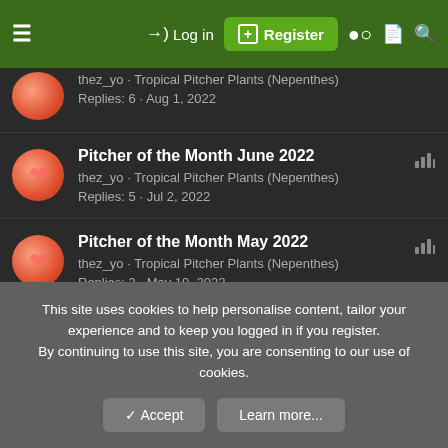≡  →) Log in  ⊞ Register
thez_yo · Tropical Pitcher Plants (Nepenthes)
Replies: 6 · Aug 1, 2022
Pitcher of the Month June 2022
thez_yo · Tropical Pitcher Plants (Nepenthes)
Replies: 5 · Jul 2, 2022
Pitcher of the Month May 2022
thez_yo · Tropical Pitcher Plants (Nepenthes)
Replies: 3 · May 19, 2022
Pitcher of the Month March 2022
thez_yo · Tropical Pitcher Plants (Nepenthes)
Replies: 5 · Apr 1, 2022
This site uses cookies to help personalise content, tailor your experience and to keep you logged in if you register.
By continuing to use this site, you are consenting to our use of cookies.